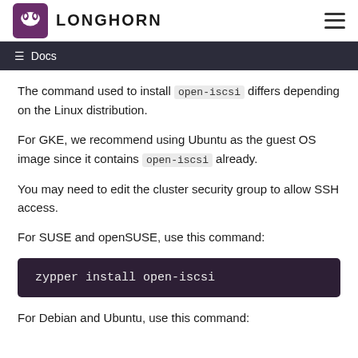LONGHORN
≡ Docs
The command used to install open-iscsi differs depending on the Linux distribution.
For GKE, we recommend using Ubuntu as the guest OS image since it contains open-iscsi already.
You may need to edit the cluster security group to allow SSH access.
For SUSE and openSUSE, use this command:
zypper install open-iscsi
For Debian and Ubuntu, use this command: